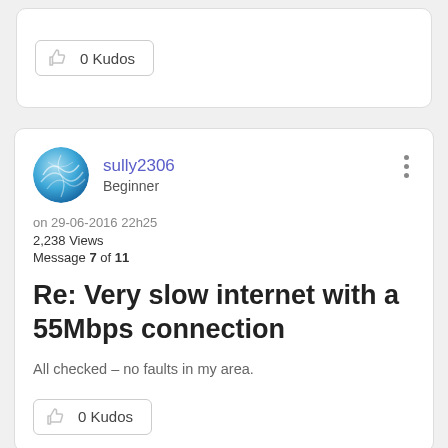0 Kudos
sully2306
Beginner
on 29-06-2016 22h25
2,238 Views
Message 7 of 11
Re: Very slow internet with a 55Mbps connection
All checked – no faults in my area.
0 Kudos